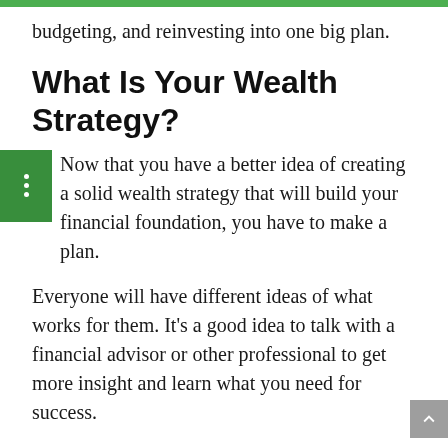budgeting, and reinvesting into one big plan.
What Is Your Wealth Strategy?
Now that you have a better idea of creating a solid wealth strategy that will build your financial foundation, you have to make a plan.
Everyone will have different ideas of what works for them. It’s a good idea to talk with a financial advisor or other professional to get more insight and learn what you need for success.
Do you want to learn more about the stock market for future investments? Be sure to check out the